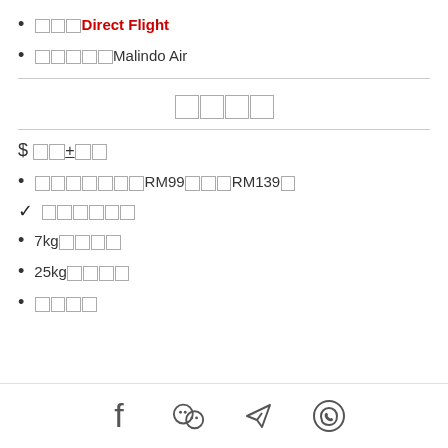□□□Direct Flight
□□□□□Malindo Air
□□□□
$ □□+□□
□□□□□□□RM99□□□RM139□
✓ □□□□□□
7kg□□□□
25kg□□□□
□□□□
Facebook, WeChat, Telegram, WhatsApp share icons